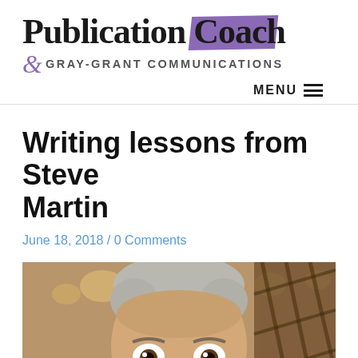Publication Coach & GRAY-GRANT COMMUNICATIONS
Writing lessons from Steve Martin
June 18, 2018 / 0 Comments
[Figure (photo): Photo of Steve Martin, a white-haired man with wide eyes making an expressive face, in what appears to be an indoor setting with decorative woodwork and bokeh lights in the background.]